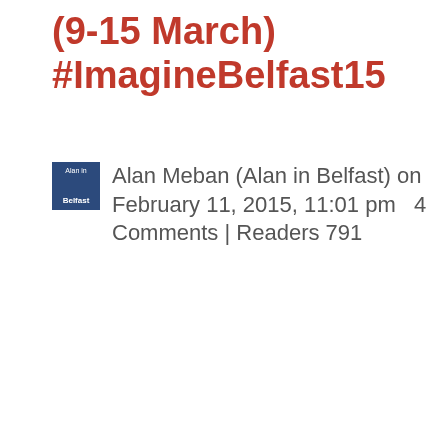(9-15 March) #ImagineBelfast15
Alan Meban (Alan in Belfast) on February 11, 2015, 11:01 pm   4 Comments | Readers 791